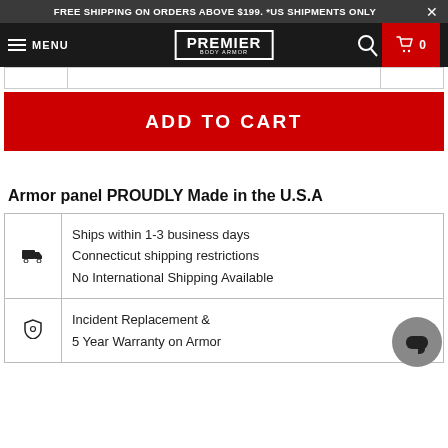FREE SHIPPING ON ORDERS ABOVE $199. *US SHIPMENTS ONLY
[Figure (screenshot): Premier Body Armor navigation bar with hamburger menu, logo, search icon, and cart button showing 0 items]
ADD TO CART
Armor panel PROUDLY Made in the U.S.A
| Icon | Details |
| --- | --- |
| [truck icon] | Ships within 1-3 business days
Connecticut shipping restrictions
No International Shipping Available |
| [shield icon] | Incident Replacement &
5 Year Warranty on Armor |